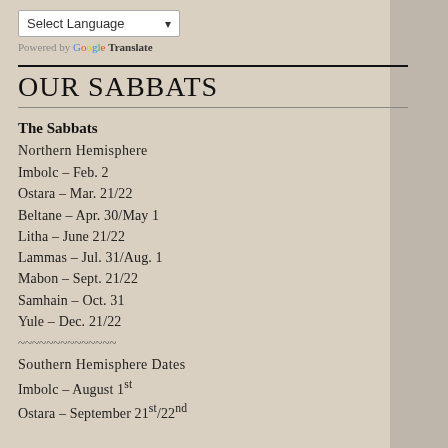Select Language | Powered by Google Translate
OUR SABBATS
The Sabbats
Northern Hemisphere
Imbolc – Feb. 2
Ostara – Mar. 21/22
Beltane – Apr. 30/May 1
Litha – June 21/22
Lammas – Jul. 31/Aug. 1
Mabon – Sept. 21/22
Samhain – Oct. 31
Yule – Dec. 21/22
~~~~~~~~~~~~~~
Southern Hemisphere Dates
Imbolc – August 1st
Ostara – September 21st/22nd